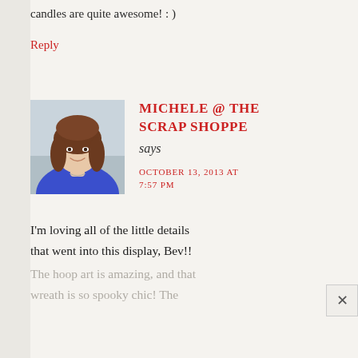candles are quite awesome! : )
Reply
[Figure (photo): Profile photo of a smiling woman with brown hair wearing a blue top]
MICHELE @ THE SCRAP SHOPPE says
OCTOBER 13, 2013 AT 7:57 PM
I'm loving all of the little details that went into this display, Bev!!
The hoop art is amazing, and that wreath is so spooky chic! The